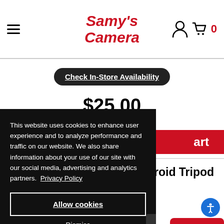Samy's Camera
Check In-Store Availability
$25.00
art
roid Tripod
This website uses cookies to enhance user experience and to analyze performance and traffic on our website. We also share information about your use of our site with our social media, advertising and analytics partners. Privacy Policy
Allow cookies
Dismiss
Cookie Preferences